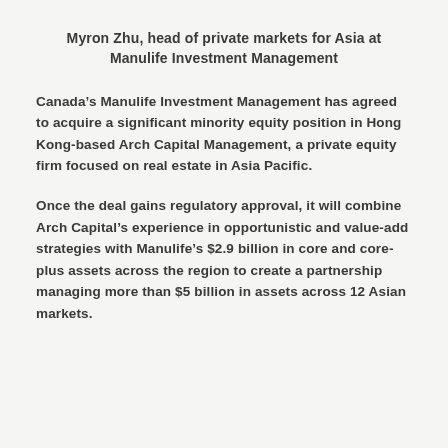Myron Zhu, head of private markets for Asia at Manulife Investment Management
Canada’s Manulife Investment Management has agreed to acquire a significant minority equity position in Hong Kong-based Arch Capital Management, a private equity firm focused on real estate in Asia Pacific.
Once the deal gains regulatory approval, it will combine Arch Capital’s experience in opportunistic and value-add strategies with Manulife’s $2.9 billion in core and core-plus assets across the region to create a partnership managing more than $5 billion in assets across 12 Asian markets.